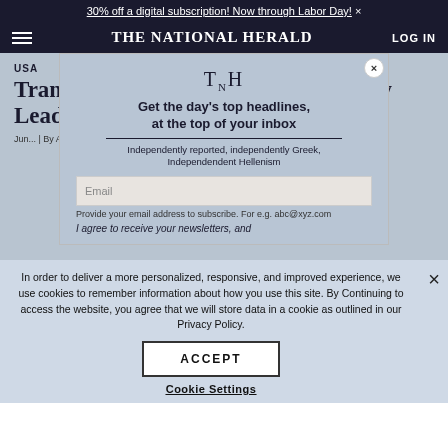30% off a digital subscription! Now through Labor Day! ×
THE NATIONAL HERALD  LOG IN
USA
Transformational Greek Coaches Now Lead 50 American Dreams
June ... | By Associated Press
[Figure (screenshot): Newsletter signup modal: TNH logo, 'Get the day's top headlines, at the top of your inbox', Independently reported, independently Greek, Independendent Hellenism, email input field, Provide your email address to subscribe. For e.g. abc@xyz.com, I agree to receive your newsletters, and close button]
In order to deliver a more personalized, responsive, and improved experience, we use cookies to remember information about how you use this site. By Continuing to access the website, you agree that we will store data in a cookie as outlined in our Privacy Policy.
ACCEPT
Cookie Settings